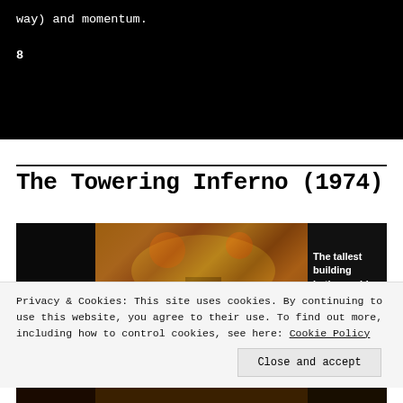way) and momentum.
8
The Towering Inferno (1974)
[Figure (photo): Movie poster/still images from The Towering Inferno (1974): dark left panel, center aerial disaster scene with fire and people, right panel with text 'The tallest building in the world']
Privacy & Cookies: This site uses cookies. By continuing to use this website, you agree to their use. To find out more, including how to control cookies, see here: Cookie Policy
Close and accept